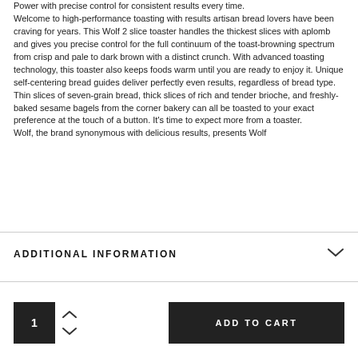Power with precise control for consistent results every time. Welcome to high-performance toasting with results artisan bread lovers have been craving for years. This Wolf 2 slice toaster handles the thickest slices with aplomb and gives you precise control for the full continuum of the toast-browning spectrum from crisp and pale to dark brown with a distinct crunch. With advanced toasting technology, this toaster also keeps foods warm until you are ready to enjoy it. Unique self-centering bread guides deliver perfectly even results, regardless of bread type. Thin slices of seven-grain bread, thick slices of rich and tender brioche, and freshly-baked sesame bagels from the corner bakery can all be toasted to your exact preference at the touch of a button. It's time to expect more from a toaster. Wolf, the brand synonymous with delicious results, presents Wolf
ADDITIONAL INFORMATION